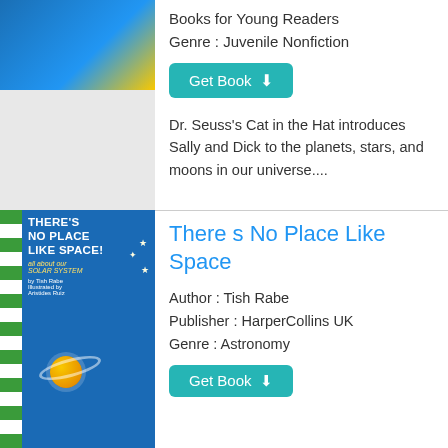[Figure (illustration): Book cover image partially visible at top, colorful]
Books for Young Readers
Genre : Juvenile Nonfiction
Get Book
Dr. Seuss's Cat in the Hat introduces Sally and Dick to the planets, stars, and moons in our universe....
[Figure (illustration): Book cover of 'There's No Place Like Space! all about our Solar System' by Tish Rabe, illustrated with Dr. Seuss's Cat in the Hat, showing planets and space scene]
There s No Place Like Space
Author : Tish Rabe
Publisher : HarperCollins UK
Genre : Astronomy
Get Book